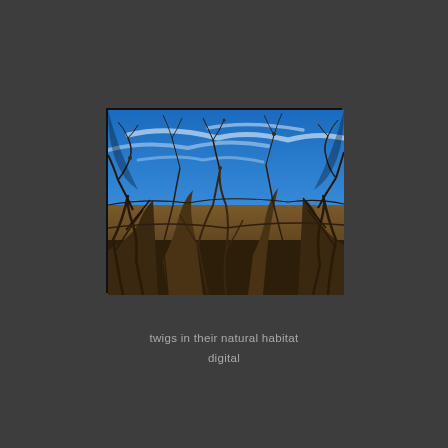[Figure (photo): Photograph of bare winter twigs and branches seen from below against a bright blue sky with wispy white clouds. The foreground shows dense dry brown brush and tangled leafless branches reaching upward.]
twigs in their natural habitat
digital